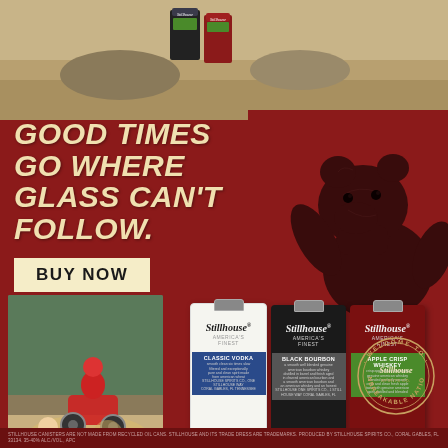[Figure (photo): Top photo showing Stillhouse cans/flasks outdoors on sandy/rocky ground]
GOOD TIMES GO WHERE GLASS CAN'T FOLLOW.
[Figure (illustration): Illustrated bear (grizzly bear) on dark red background, right side]
BUY NOW
[Figure (photo): Action photo of motocross/dirt bike rider and person in outdoor setting]
[Figure (photo): Three Stillhouse spirit cans: Classic Vodka (white), Black Bourbon (black), Apple Crisp Whiskey (red)]
[Figure (logo): Welcome to Stillhouse Unbreakable Nation circular badge/logo]
STILLHOUSE CANISTERS ARE NOT MADE FROM RECYCLED OIL CANS. STILLHOUSE AND ITS TRADE DRESS ARE TRADEMARKS. PRODUCED BY STILLHOUSE SPIRITS CO., CORAL GABLES, FL 33134. 35-40% ALC./VOL., APC